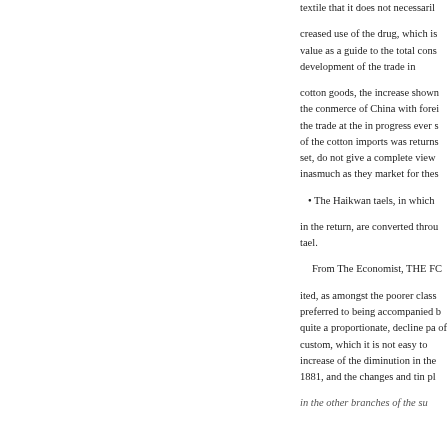textile that it does not necessaril
creased use of the drug, which is value as a guide to the total cons development of the trade in
cotton goods, the increase shown the conmerce of China with forei the trade at the in progress ever s of the cotton imports was returns set, do not give a complete view inasmuch as they market for thes
The Haikwan taels, in which
in the return, are converted throu tael.
From The Economist, THE FC
ited, as amongst the poorer class preferred to being accompanied b quite a proportionate, decline pa of custom, which it is not easy to increase of the diminution in the 1881, and the changes and tin pl
in the other branches of the su